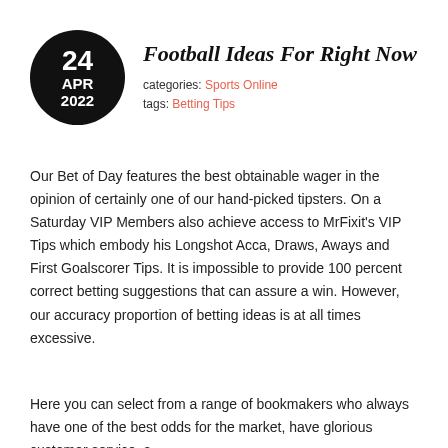Football Ideas For Right Now
categories: Sports Online
tags: Betting Tips
Our Bet of Day features the best obtainable wager in the opinion of certainly one of our hand-picked tipsters. On a Saturday VIP Members also achieve access to MrFixit's VIP Tips which embody his Longshot Acca, Draws, Aways and First Goalscorer Tips. It is impossible to provide 100 percent correct betting suggestions that can assure a win. However, our accuracy proportion of betting ideas is at all times excessive.
Here you can select from a range of bookmakers who always have one of the best odds for the market, have glorious customer service, a